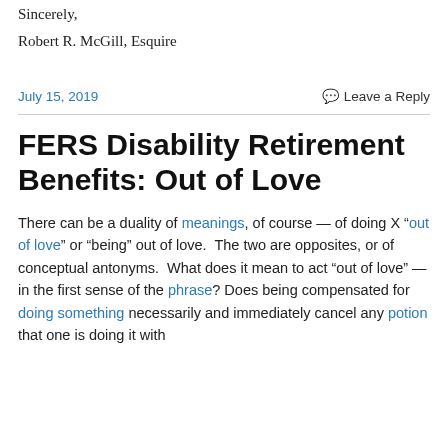Sincerely,
Robert R. McGill, Esquire
July 15, 2019
Leave a Reply
FERS Disability Retirement Benefits: Out of Love
There can be a duality of meanings, of course — of doing X "out of love" or "being" out of love.  The two are opposites, or of conceptual antonyms.  What does it mean to act "out of love" — in the first sense of the phrase? Does being compensated for doing something necessarily and immediately cancel any potion that one is doing it with